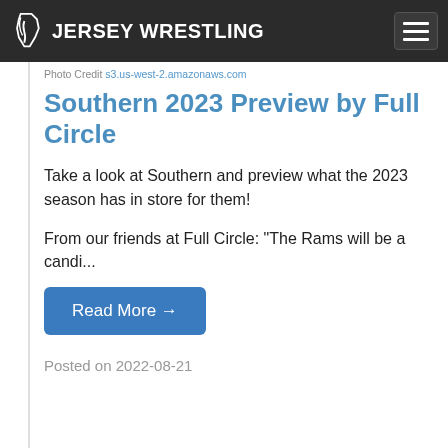JERSEY WRESTLING
Photo Credit s3.us-west-2.amazonaws.com
Southern 2023 Preview by Full Circle
Take a look at Southern and preview what the 2023 season has in store for them!
From our friends at Full Circle: "The Rams will be a candi...
Read More →
Posted on 2022-08-21